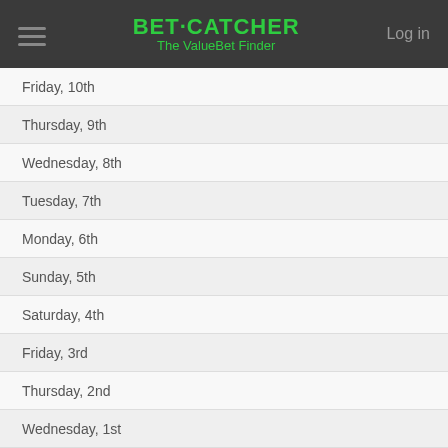BET·CATCHER The ValueBet Finder | Log in
Friday, 10th
Thursday, 9th
Wednesday, 8th
Tuesday, 7th
Monday, 6th
Sunday, 5th
Saturday, 4th
Friday, 3rd
Thursday, 2nd
Wednesday, 1st
2021 November
Tuesday, 30th
Monday, 29th